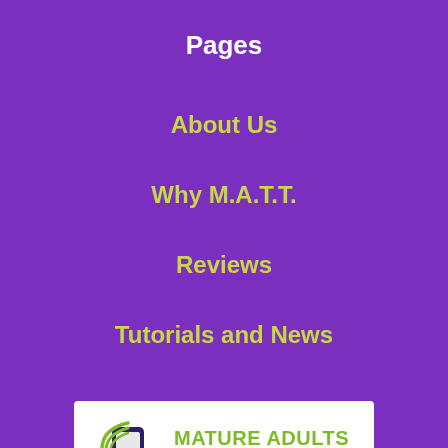Pages
About Us
Why M.A.T.T.
Reviews
Tutorials and News
[Figure (logo): Mature Adults Tech Training logo: green circular wifi/phone icon on left, green 'MATURE ADULTS' text and dark blue 'TECH TRAINING' text on white background rectangle]